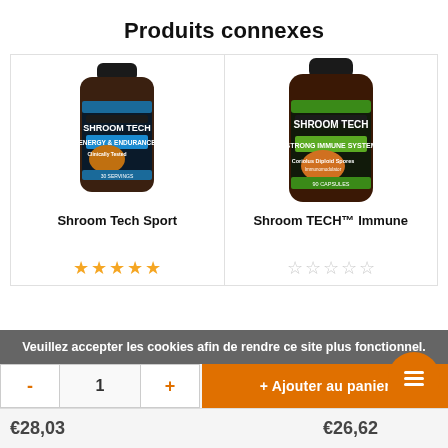Produits connexes
[Figure (photo): Shroom Tech Sport supplement bottle (dark glass jar with black lid, blue label)]
Shroom Tech Sport
[Figure (photo): Shroom TECH Immune supplement bottle (dark glass jar with black lid, green label)]
Shroom TECH™ Immune
★★★★★ (filled stars for Shroom Tech Sport)
☆☆☆☆☆ (empty stars for Shroom TECH Immune)
Veuillez accepter les cookies afin de rendre ce site plus fonctionnel.
- 1 + Ajouter au panier
€28,03
€26,62